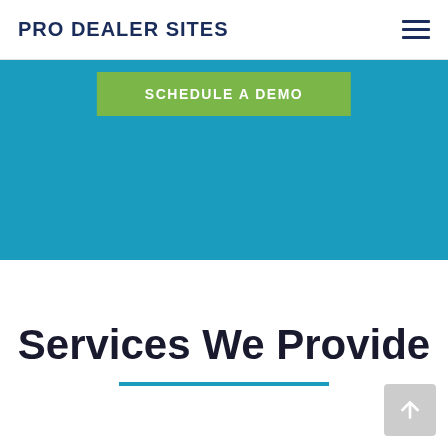PRO DEALER SITES
[Figure (screenshot): Teal/blue hero banner background with a green 'SCHEDULE A DEMO' button]
SCHEDULE A DEMO
Services We Provide
[Figure (other): Back-to-top arrow button in light gray, bottom right corner]